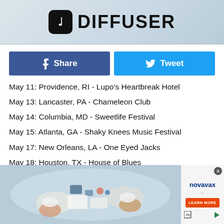DIFFUSER
Share  Tweet
May 11: Providence, RI - Lupo’s Heartbreak Hotel
May 13: Lancaster, PA - Chameleon Club
May 14: Columbia, MD - Sweetlife Festival
May 15: Atlanta, GA - Shaky Knees Music Festival
May 17: New Orleans, LA - One Eyed Jacks
May 18: Houston, TX - House of Blues
May 20: San Antonio, TX - The Aztec Theatre
May 21: Austin, TX - Stubb’s Waller Creek Outdoor Amphitheater
[Figure (photo): Overhead view of people in white lab coats working at a table with scientific/medical equipment]
[Figure (advertisement): Novavax advertisement with Learn More button]